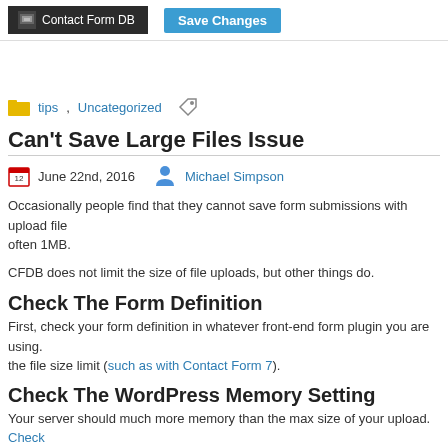[Figure (screenshot): Top bar with Contact Form DB plugin label and Save Changes button]
tips, Uncategorized
Can't Save Large Files Issue
June 22nd, 2016   Michael Simpson
Occasionally people find that they cannot save form submissions with upload files. The limit is often 1MB.
CFDB does not limit the size of file uploads, but other things do.
Check The Form Definition
First, check your form definition in whatever front-end form plugin you are using. It likely has the file size limit (such as with Contact Form 7).
Check The WordPress Memory Setting
Your server should much more memory than the max size of your upload. Check settings.
Check MySQL max_allowed_packet
The file binary gets stored in the database. Often it is the MySQL DB that is rejec